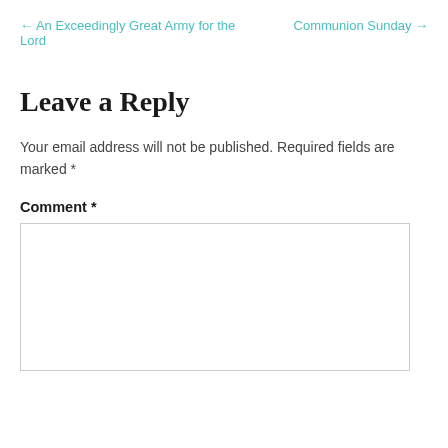← An Exceedingly Great Army for the Lord
Communion Sunday →
Leave a Reply
Your email address will not be published. Required fields are marked *
Comment *